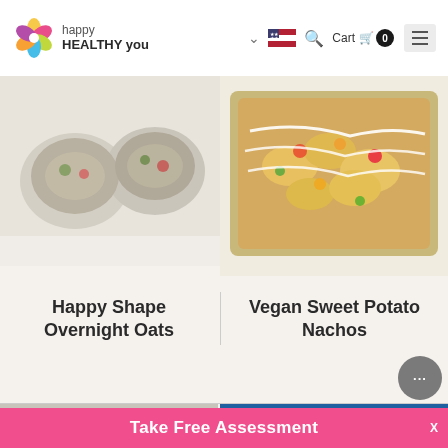happy HEALTHY you — Cart 0
[Figure (photo): Two bowls of overnight oats with toppings, viewed from above on a white surface]
[Figure (photo): Sheet pan of vegan sweet potato nachos with colorful toppings and drizzled sauce on a baking tray]
Happy Shape Overnight Oats
Vegan Sweet Potato Nachos
[Figure (photo): Notebook and pen on a striped surface - partial view]
[Figure (photo): Stack of pancakes with blueberries on a red plate against a blue background]
Take Free Assessment
X